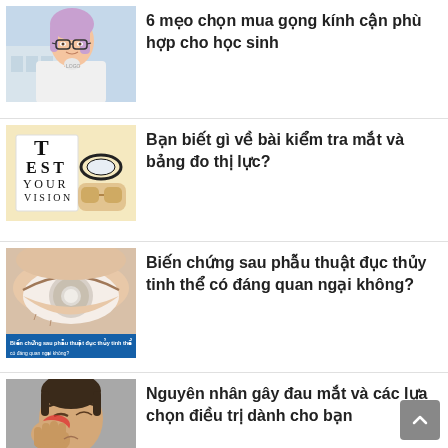[Figure (photo): Young woman with glasses and purple hair, smiling]
6 mẹo chọn mua gọng kính cận phù hợp cho học sinh
[Figure (photo): Eye test chart and a pair of glasses on yellow background]
Bạn biết gì về bài kiểm tra mắt và bảng đo thị lực?
[Figure (photo): Close-up of an eye with cataract, with blue overlay text]
Biến chứng sau phẫu thuật đục thủy tinh thể có đáng quan ngại không?
[Figure (photo): Man pressing hand to painful red eye]
Nguyên nhân gây đau mắt và các lựa chọn điều trị dành cho bạn